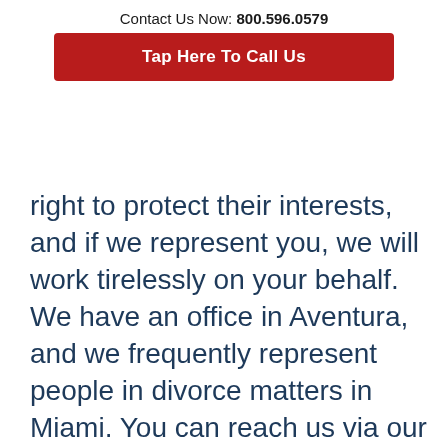Contact Us Now: 800.596.0579
Tap Here To Call Us
right to protect their interests, and if we represent you, we will work tirelessly on your behalf. We have an office in Aventura, and we frequently represent people in divorce matters in Miami. You can reach us via our form online or at 800-596-0579 to set up a conference.